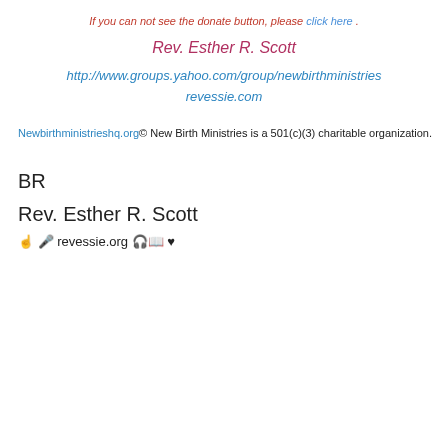If you can not see the donate button, please click here .
Rev. Esther R. Scott
http://www.groups.yahoo.com/group/newbirthministries revessie.com
Newbirthministrieshq.org© New Birth Ministries is a 501(c)(3) charitable organization.
BR
Rev. Esther R. Scott
🖐 🎤 revessie.org 🎧📖 ♥